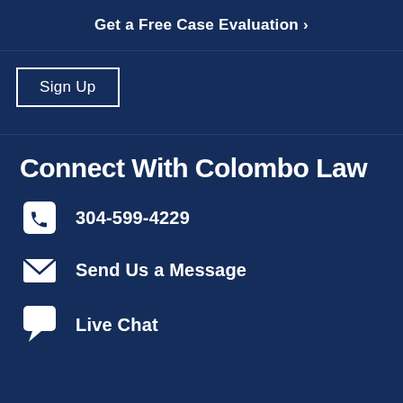Get a Free Case Evaluation ›
Sign Up
Connect With Colombo Law
304-599-4229
Send Us a Message
Live Chat